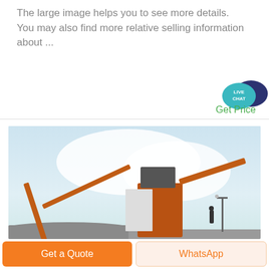The large image helps you to see more details. You may also find more relative selling information about ...
[Figure (illustration): Live chat widget with two speech bubbles — teal bubble in front with white text 'LIVE CHAT', dark navy bubble behind it]
Get Price
[Figure (photo): Industrial mining/crushing machinery with orange conveyor equipment against a light blue sky, workers visible on structure, gravel/aggregate material in foreground]
Get a Quote
WhatsApp